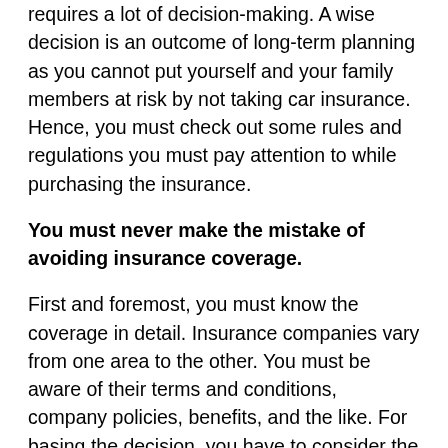requires a lot of decision-making. A wise decision is an outcome of long-term planning as you cannot put yourself and your family members at risk by not taking car insurance. Hence, you must check out some rules and regulations you must pay attention to while purchasing the insurance.
You must never make the mistake of avoiding insurance coverage.
First and foremost, you must know the coverage in detail. Insurance companies vary from one area to the other. You must be aware of their terms and conditions, company policies, benefits, and the like. For basing the decision, you have to consider the vehicle type, the model, price, experience, and other factors. Apart from this, whether condition and driving condition are other fundamental areas to explore, there are various tools for this you can see